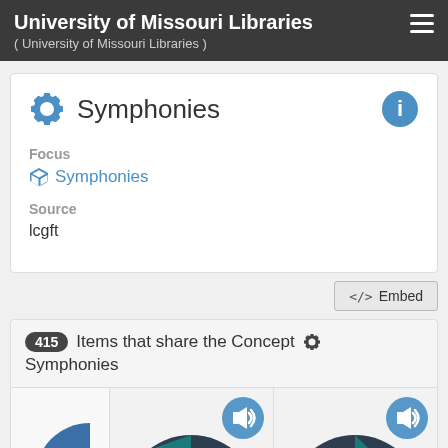University of Missouri Libraries ( University of Missouri Libraries )
Symphonies
Focus
Symphonies
Source
lcgft
<> Embed
415 Items that share the Concept Symphonies
[Figure (screenshot): Three vinyl record thumbnails with audio play icons overlaid, partially visible at bottom of page]